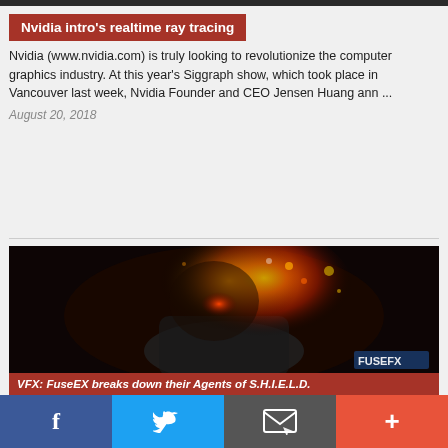Nvidia intro's realtime ray tracing
Nvidia (www.nvidia.com) is truly looking to revolutionize the computer graphics industry. At this year’s Siggraph show, which took place in Vancouver last week, Nvidia Founder and CEO Jensen Huang ann ...
August 20, 2018
[Figure (photo): Dark dramatic image of a character with a flaming skull/face, with FUSEFX watermark in lower right corner]
VFX: FuseEX breaks down their Agents of S.H.I.E.L.D.
f | Twitter icon | Email icon | +